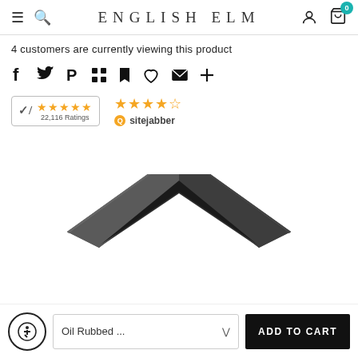ENGLISH ELM — navigation header with hamburger, search, user, and cart (badge: 0)
4 customers are currently viewing this product
[Figure (infographic): Social sharing icons row: Facebook (f), Twitter (bird), Pinterest (P), grid, bookmark, heart, email, plus]
[Figure (infographic): Two rating badges: (1) Shopper Approved 5-star badge with 22,116 Ratings; (2) Sitejabber 4.5-star badge]
[Figure (photo): Corner of a dark metal/oil-rubbed bronze picture frame shown from above at an angle]
Accessibility button | Oil Rubbed ... (dropdown) | ADD TO CART button